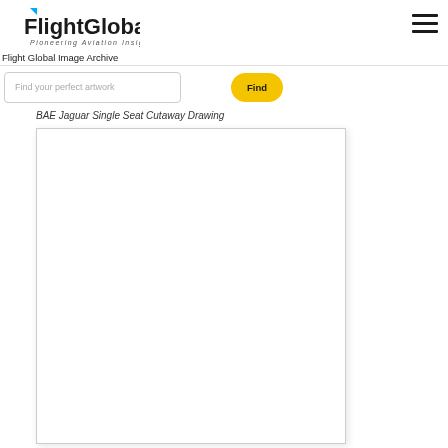FlightGlobal - Pioneering Aviation Insight
Flight Global Image Archive
Find your perfect artwork
Find
BAE Jaguar Single Seat Cutaway Drawing
[Figure (other): White blank image placeholder area with light border and shadow, representing the BAE Jaguar Single Seat Cutaway Drawing image that has not loaded.]